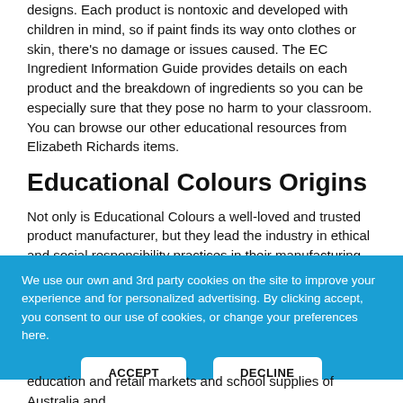designs. Each product is nontoxic and developed with children in mind, so if paint finds its way onto clothes or skin, there's no damage or issues caused. The EC Ingredient Information Guide provides details on each product and the breakdown of ingredients so you can be especially sure that they pose no harm to your classroom. You can browse our other educational resources from Elizabeth Richards items.
Educational Colours Origins
Not only is Educational Colours a well-loved and trusted product manufacturer, but they lead the industry in ethical and social responsibility practices in their manufacturing and distribution centres. The brand is committed to Sedex environmental practices and works to generate no more than 3% wastage every year, implementing extensive recycling and upcycling campaigns at every level of the company. Their partnership with Sedex also guarantees a commitment to ethical production and supply
We use our own and 3rd party cookies on the site to improve your experience and for personalized advertising. By clicking accept, you consent to our use of cookies, or change your preferences here.
education and retail markets and school supplies of Australia and